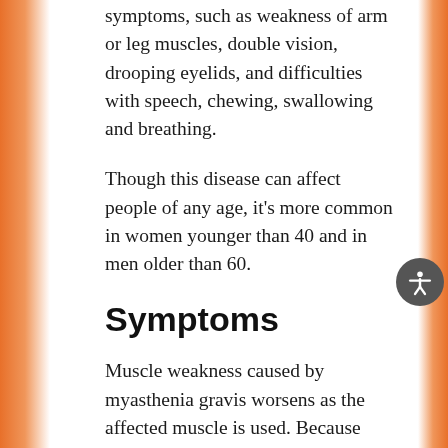symptoms, such as weakness of arm or leg muscles, double vision, drooping eyelids, and difficulties with speech, chewing, swallowing and breathing.
Though this disease can affect people of any age, it's more common in women younger than 40 and in men older than 60.
Symptoms
Muscle weakness caused by myasthenia gravis worsens as the affected muscle is used. Because symptoms usually improve with rest, muscle weakness can come and go. However, the symptoms tend to progress over time, usually reaching their worst within a few years after the onset of the disease.
Although myasthenia gravis can affect any of the muscles that you control voluntarily, certain muscle groups are more commonly